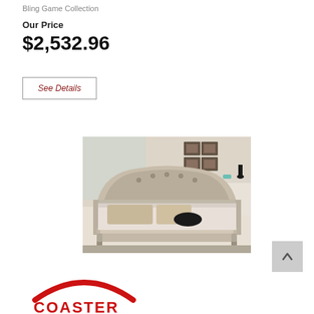Bling Game Collection
Our Price
$2,532.96
See Details
[Figure (photo): A silver/champagne upholstered bed with tufted headboard and footboard in a bedroom setting with framed art on wall and white nightstand]
[Figure (logo): Coaster furniture brand logo — red arch with COASTER text below]